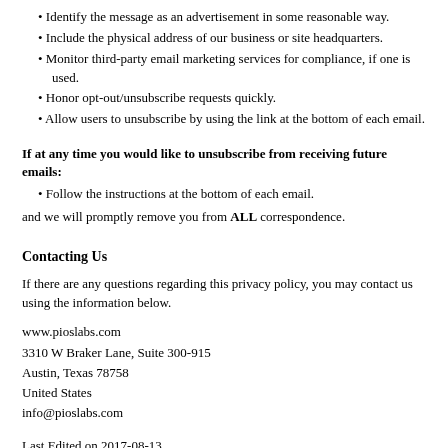Identify the message as an advertisement in some reasonable way.
Include the physical address of our business or site headquarters.
Monitor third-party email marketing services for compliance, if one is used.
Honor opt-out/unsubscribe requests quickly.
Allow users to unsubscribe by using the link at the bottom of each email.
If at any time you would like to unsubscribe from receiving future emails:
Follow the instructions at the bottom of each email.
and we will promptly remove you from ALL correspondence.
Contacting Us
If there are any questions regarding this privacy policy, you may contact us using the information below.
www.pioslabs.com
3310 W Braker Lane, Suite 300-915
Austin, Texas 78758
United States
info@pioslabs.com
Last Edited on 2017-08-13